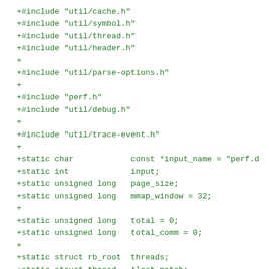+#include "util/cache.h"
+#include "util/symbol.h"
+#include "util/thread.h"
+#include "util/header.h"
+
+#include "util/parse-options.h"
+
+#include "perf.h"
+#include "util/debug.h"
+
+#include "util/trace-event.h"
+
+static char            const *input_name = "perf.d
+static int             input;
+static unsigned long   page_size;
+static unsigned long   mmap_window = 32;
+
+static unsigned long   total = 0;
+static unsigned long   total_comm = 0;
+
+static struct rb_root  threads;
+static struct thread   *last_match;
+
+static struct perf_header *header;
+static u64             sample_type;
+
+
+static int
+process_comm_event(event_t *event, unsigned long o
+{